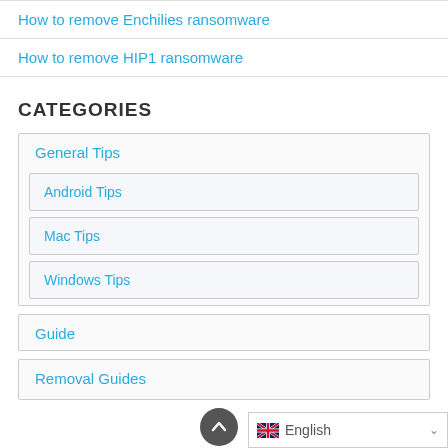How to remove Enchilies ransomware
How to remove HIP1 ransomware
CATEGORIES
General Tips
Android Tips
Mac Tips
Windows Tips
Guide
Removal Guides
English